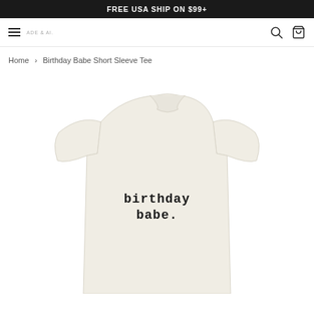FREE USA SHIP ON $99+
[Figure (screenshot): Navigation bar with hamburger menu, brand logo text, search icon, and shopping bag icon]
Home › Birthday Babe Short Sleeve Tee
[Figure (photo): Cream/off-white children's short sleeve t-shirt with 'birthday babe.' printed in dark typewriter-style font on the chest]